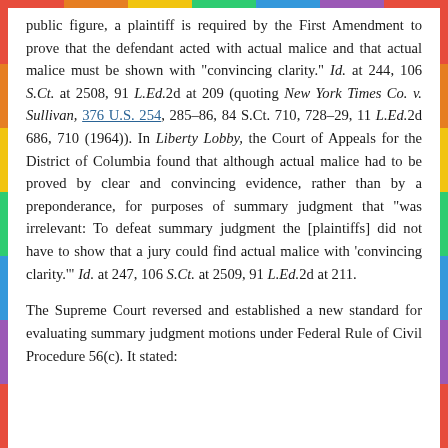public figure, a plaintiff is required by the First Amendment to prove that the defendant acted with actual malice and that actual malice must be shown with "convincing clarity." Id. at 244, 106 S.Ct. at 2508, 91 L.Ed.2d at 209 (quoting New York Times Co. v. Sullivan, 376 U.S. 254, 285-86, 84 S.Ct. 710, 728-29, 11 L.Ed.2d 686, 710 (1964)). In Liberty Lobby, the Court of Appeals for the District of Columbia found that although actual malice had to be proved by clear and convincing evidence, rather than by a preponderance, for purposes of summary judgment that "was irrelevant: To defeat summary judgment the [plaintiffs] did not have to show that a jury could find actual malice with 'convincing clarity.'" Id. at 247, 106 S.Ct. at 2509, 91 L.Ed.2d at 211.
The Supreme Court reversed and established a new standard for evaluating summary judgment motions under Federal Rule of Civil Procedure 56(c). It stated: